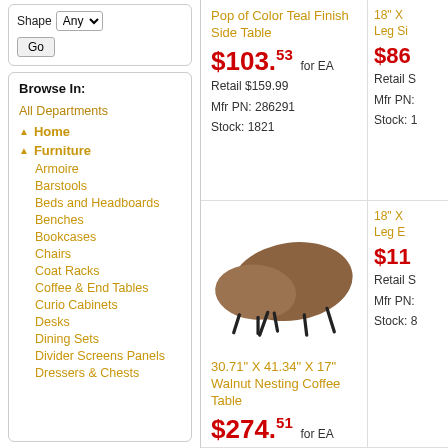Shape Any [Go]
Browse In:
All Departments
▲ Home
▲ Furniture
Armoire
Barstools
Beds and Headboards
Benches
Bookcases
Chairs
Coat Racks
Coffee & End Tables
Curio Cabinets
Desks
Dining Sets
Divider Screens Panels
Dressers & Chests
Pop of Color Teal Finish Side Table
$103.53 for EA
Retail $159.99
Mfr PN: 286291
Stock: 1821
18" X ... Leg Si...
$86... Retail S... Mfr PN:... Stock: 1...
[Figure (photo): Two walnut-finish nesting coffee tables with black legs]
30.71" X 41.34" X 17" Walnut Nesting Coffee Table
$274.51 for EA
Retail $388.99
Mfr PN: 372964
Stock: 905
18" X ... Leg E...
$11... Retail S... Mfr PN:... Stock: 8...